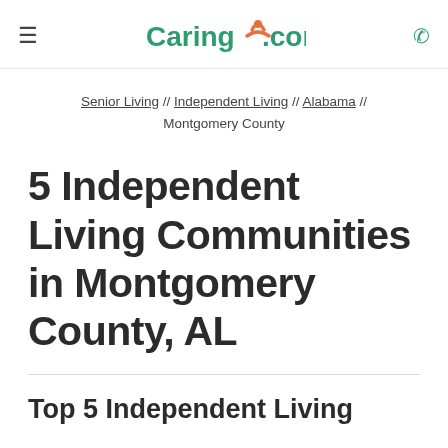≡   Caring.com   📞
Senior Living // Independent Living // Alabama // Montgomery County
5 Independent Living Communities in Montgomery County, AL
Top 5 Independent Living